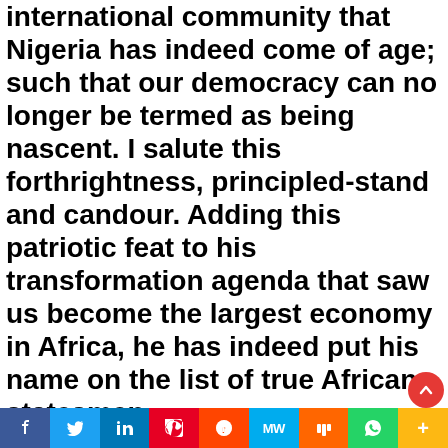international community that Nigeria has indeed come of age; such that our democracy can no longer be termed as being nascent. I salute this forthrightness, principled-stand and candour. Adding this patriotic feat to his transformation agenda that saw us become the largest economy in Africa, he has indeed put his name on the list of true African statesmen.
For us in Ogun state, the wind of change will yet blow. As the gubernatorial candidate of the Peoples Democratic Party (PDP), These results clearly presents sterner challenges to conquer but also with it comes the opportunity for success and progress. I firmly